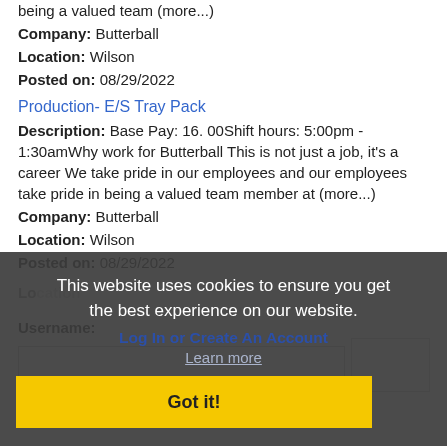being a valued team (more...)
Company: Butterball
Location: Wilson
Posted on: 08/29/2022
Production- E/S Tray Pack
Description: Base Pay: 16. 00Shift hours: 5:00pm - 1:30amWhy work for Butterball This is not just a job, it's a career We take pride in our employees and our employees take pride in being a valued team member at (more...)
Company: Butterball
Location: Wilson
Posted on: 08/29/2022
This website uses cookies to ensure you get the best experience on our website.
Log In or Create An Account
Learn more
Username:
Got it!
Password: